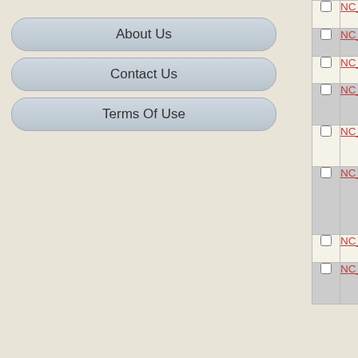About Us
Contact Us
Terms Of Use
|  | NC ID | Gene | Description |
| --- | --- | --- | --- |
| ☐ | NC_007908 | Rfer_1887 | diguanylate cyclas... |
| ☐ | NC_011729 | PCC7424_3032 | diguanylate cyclas... |
| ☐ | NC_008228 | Patl_3835 | diguanylate cyclas... |
| ☐ | NC_011901 | Tgr7_1380 | diguanylate cyclas... PAS/P... |
| ☐ | NC_013223 | Dret_1440 | diguanylate cyclas... PAS/P... |
| ☐ | NC_013173 | Dbac_2032 | response regula... modul... diguanylate cyclas... |
| ☐ | NC_008740 | Maqu_2607 | diguanylate cyclas... |
| ☐ | NC_007954 | Sden_0532 | GGDB... contai... protein |